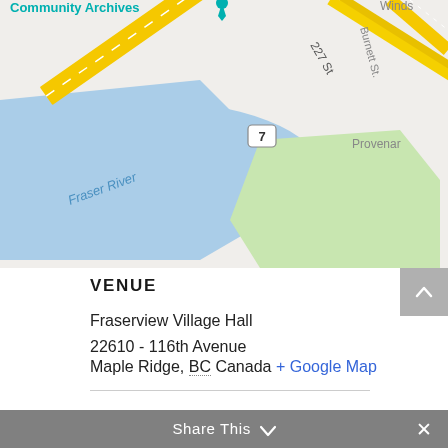[Figure (map): Google Maps screenshot showing Fraser River area with a yellow highway road, green area, and labels including 'Community Archives', '227 St', 'Burnett St', 'Provenar', and highway marker 7. Blue water labeled 'Fraser River'.]
VENUE
Fraserview Village Hall
22610 - 116th Avenue
Maple Ridge, BC Canada + Google Map
< January 10, 2019 Breakfast Meeting – Myrna Norman
• March 14, 2019 Breakfast Meeting – Leanne Koehn, Ridge Meadows Recycling Society >
Share This ∨ ×